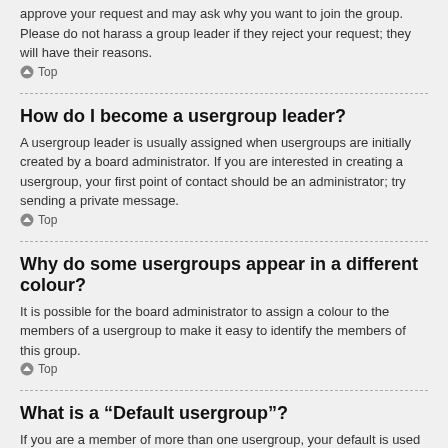approve your request and may ask why you want to join the group. Please do not harass a group leader if they reject your request; they will have their reasons.
Top
How do I become a usergroup leader?
A usergroup leader is usually assigned when usergroups are initially created by a board administrator. If you are interested in creating a usergroup, your first point of contact should be an administrator; try sending a private message.
Top
Why do some usergroups appear in a different colour?
It is possible for the board administrator to assign a colour to the members of a usergroup to make it easy to identify the members of this group.
Top
What is a “Default usergroup”?
If you are a member of more than one usergroup, your default is used to determine which group colour and group rank should be shown for you by